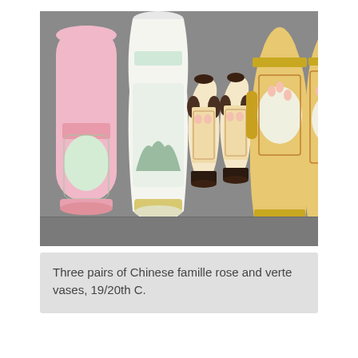[Figure (photo): A group of Chinese famille rose and verte vases arranged together. On the left are two large pink famille rose vases with landscape and floral decoration. In the center are two smaller Satsuma-style vases with dark handles and figural scenes. On the right are two large famille verte/rose medallion vases with colorful figural scenes. All photographed against a gray background.]
Three pairs of Chinese famille rose and verte vases, 19/20th C.